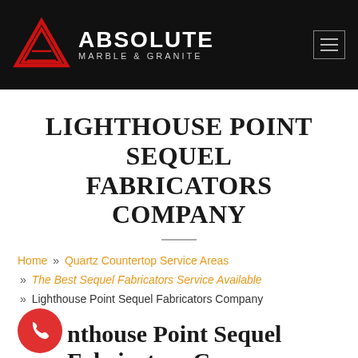[Figure (logo): Absolute Marble & Granite logo with red triangle/mountain icon and white bold text on black background]
LIGHTHOUSE POINT SEQUEL FABRICATORS COMPANY
Home » Quartz Countertop Service Areas » The Best Sequel Fabricators Service Available » Lighthouse Point Sequel Fabricators Company
Lighthouse Point Sequel Fabricators Company